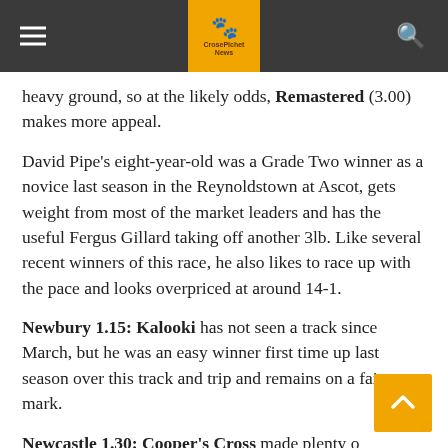CrosePichet News
heavy ground, so at the likely odds, Remastered (3.00) makes more appeal.
David Pipe's eight-year-old was a Grade Two winner as a novice last season in the Reynoldstown at Ascot, gets weight from most of the market leaders and has the useful Fergus Gillard taking off another 3lb. Like several recent winners of this race, he also likes to race up with the pace and looks overpriced at around 14-1.
Newbury 1.15: Kalooki has not seen a track since March, but he was an easy winner first time up last season over this track and trip and remains on a fair mark.
Newcastle 1.30: Cooper's Cross made plenty of appeal to in last time and looks overpriced at